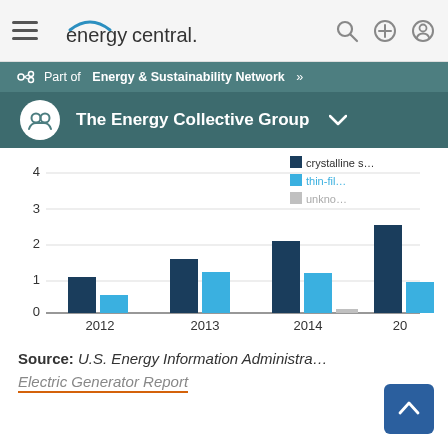energycentral.
Part of Energy & Sustainability Network »
The Energy Collective Group
[Figure (grouped-bar-chart): Solar capacity by technology type]
Source: U.S. Energy Information Administration
Electric Generator Report